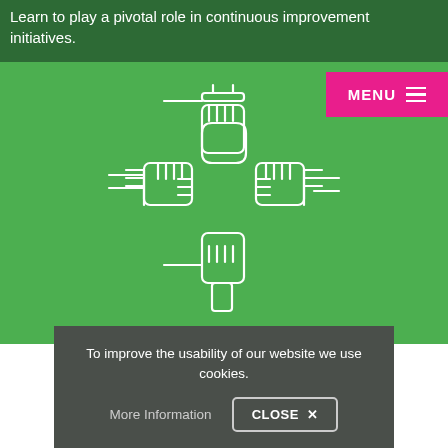Learn to play a pivotal role in continuous improvement initiatives.
[Figure (illustration): White line-art illustration of four hands interlocked in a teamwork/unity gesture on a green background]
To improve the usability of our website we use cookies.
More Information
CLOSE ✕